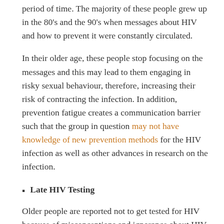period of time. The majority of these people grew up in the 80's and the 90's when messages about HIV and how to prevent it were constantly circulated.
In their older age, these people stop focusing on the messages and this may lead to them engaging in risky sexual behaviour, therefore, increasing their risk of contracting the infection. In addition, prevention fatigue creates a communication barrier such that the group in question may not have knowledge of new prevention methods for the HIV infection as well as other advances in research on the infection.
Late HIV Testing
Older people are reported not to get tested for HIV because of misconceptions and ignorance about HIV infection and whom it affects, denial of risk